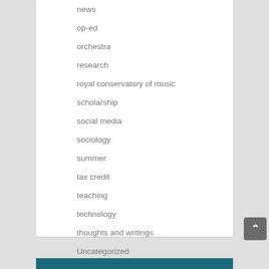news
op-ed
orchestra
research
royal conservatory of music
scholarship
social media
sociology
summer
tax credit
teaching
technology
thoughts and writings
Uncategorized
welcome
wind band
workshop